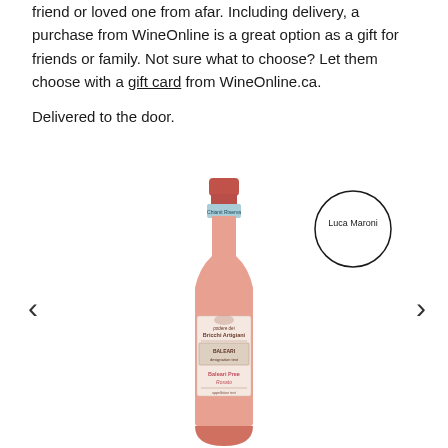friend or loved one from afar. Including delivery, a purchase from WineOnline is a great option as a gift for friends or family. Not sure what to choose? Let them choose with a gift card from WineOnline.ca.

Delivered to the door.
[Figure (photo): A bottle of rosé wine (Bricchi Artigiani brand, with a pink label reading 'Baleari Pree Rosato') with a salmon/pink colored body, displayed upright. To the right of the bottle is a circular Luca Maroni rating badge. Navigation arrows (< and >) appear on the left and right sides of the image area.]